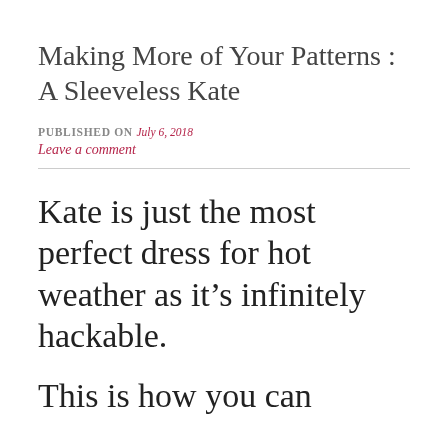Making More of Your Patterns : A Sleeveless Kate
PUBLISHED ON July 6, 2018
Leave a comment
Kate is just the most perfect dress for hot weather as it’s infinitely hackable.
This is how you can